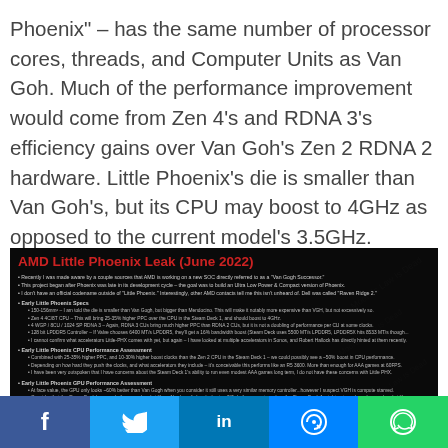Phoenix" – has the same number of processor cores, threads, and Computer Units as Van Goh. Much of the performance improvement would come from Zen 4's and RDNA 3's efficiency gains over Van Goh's Zen 2 RDNA 2 hardware. Little Phoenix's die is smaller than Van Goh's, but its CPU may boost to 4GHz as opposed to the current model's 3.5GHz.
[Figure (screenshot): Screenshot of a dark-background slide titled 'AMD Little Phoenix Leak (June 2022)' with red title text and multiple bullet points describing specs and performance assessments for Early Little Phoenix CPU and GPU, with a watermark overlay.]